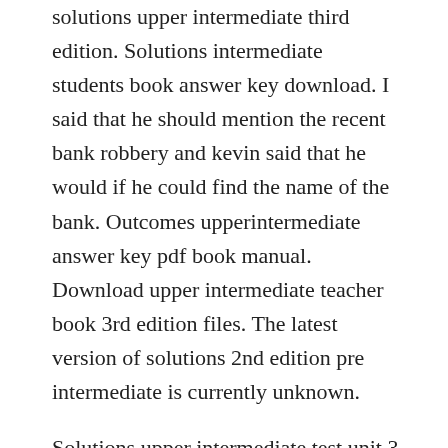solutions upper intermediate third edition. Solutions intermediate students book answer key download. I said that he should mention the recent bank robbery and kevin said that he would if he could find the name of the bank. Outcomes upperintermediate answer key pdf book manual. Download upper intermediate teacher book 3rd edition files. The latest version of solutions 2nd edition pre intermediate is currently unknown.
Solutions upper intermediate test unit 3 search and download. Oxford solutions 2nd edition upper intermediate students book published.